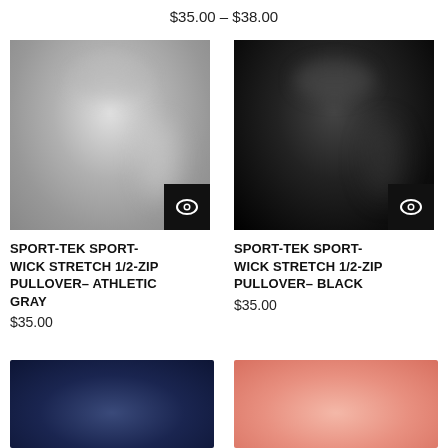$35.00 – $38.00
[Figure (photo): Sport-Tek Sport-Wick Stretch 1/2-Zip Pullover in Athletic Gray color, blurred product photo with eye/quick-view icon button]
SPORT-TEK SPORT-WICK STRETCH 1/2-ZIP PULLOVER– ATHLETIC GRAY
$35.00
[Figure (photo): Sport-Tek Sport-Wick Stretch 1/2-Zip Pullover in Black color, blurred product photo with eye/quick-view icon button]
SPORT-TEK SPORT-WICK STRETCH 1/2-ZIP PULLOVER– BLACK
$35.00
[Figure (photo): Partial view of a navy blue hat product at bottom left]
[Figure (photo): Partial view of a pink/salmon colored product at bottom right]